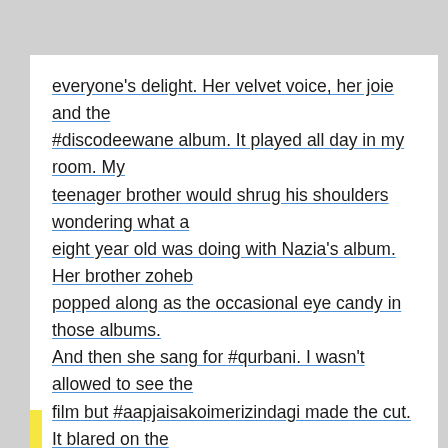everyone's delight. Her velvet voice, her joie and the #discodeewane album. It played all day in my room. My teenager brother would shrug his shoulders wondering what a eight year old was doing with Nazia's album. Her brother zoheb popped along as the occasional eye candy in those albums. And then she sang for #qurbani. I wasn't allowed to see the film but #aapjaisakoimerizindagi made the cut. It blared on the airwaves and she was the first Pakistani to win a #filmfare for best playback singer. She was in good company that year as kishoreda won the filmfare for best playback for the #hazaarrahen for #thodisibewafaii. The gorgeously produced song by #Biddu picturised on the luscious #zeenataman was another big reason for its popularity. Either ways Nazia had